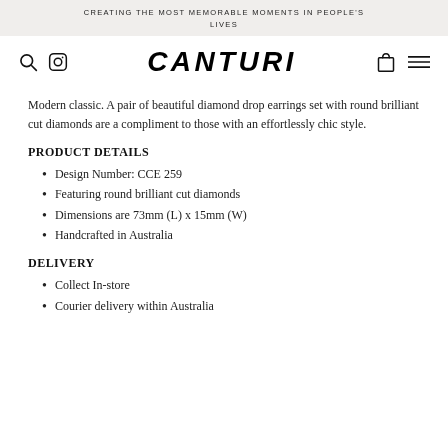CREATING THE MOST MEMORABLE MOMENTS IN PEOPLE'S LIVES
[Figure (logo): Canturi brand navigation bar with search icon, Instagram icon, CANTURI logo in bold italic, shopping bag icon, and hamburger menu icon]
Modern classic. A pair of beautiful diamond drop earrings set with round brilliant cut diamonds are a compliment to those with an effortlessly chic style.
PRODUCT DETAILS
Design Number: CCE 259
Featuring round brilliant cut diamonds
Dimensions are 73mm (L) x 15mm (W)
Handcrafted in Australia
DELIVERY
Collect In-store
Courier delivery within Australia